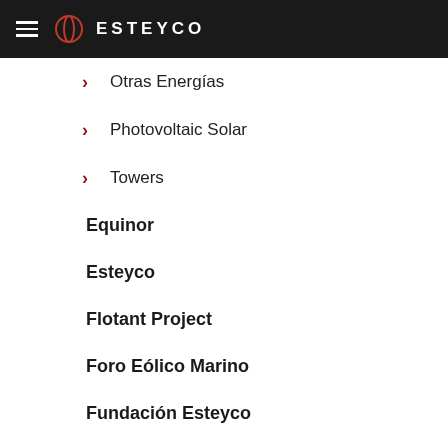ESTEYCO
> Otras Energías
> Photovoltaic Solar
> Towers
Equinor
Esteyco
Flotant Project
Foro Eólico Marino
Fundación Esteyco
Liquefied Gas